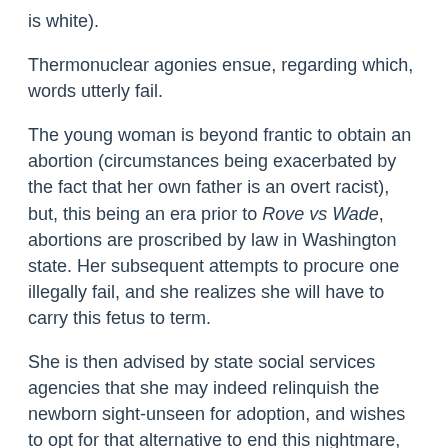is white).
Thermonuclear agonies ensue, regarding which, words utterly fail.
The young woman is beyond frantic to obtain an abortion (circumstances being exacerbated by the fact that her own father is an overt racist), but, this being an era prior to Rove vs Wade, abortions are proscribed by law in Washington state. Her subsequent attempts to procure one illegally fail, and she realizes she will have to carry this fetus to term.
She is then advised by state social services agencies that she may indeed relinquish the newborn sight-unseen for adoption, and wishes to opt for that alternative to end this nightmare, however imperfectly. This, though, requires the husband's written assent, which, for reasons not entirely clear to him, he declines to provide. In part, one can safely assume, hoping against